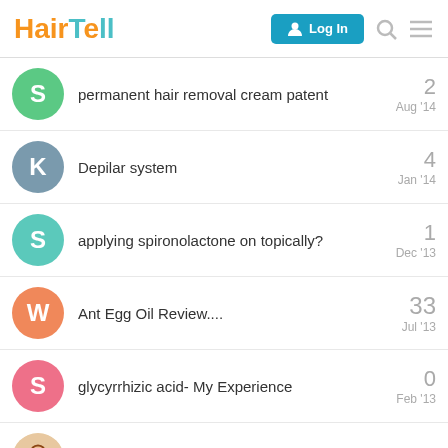HairTell — Log In
permanent hair removal cream patent — 2 — Aug '14
Depilar system — 4 — Jan '14
applying spironolactone on topically? — 1 — Dec '13
Ant Egg Oil Review.... — 33 — Jul '13
glycyrrhizic acid- My Experience — 0 — Feb '13
Tala: Ant Egg Oil .. permanently hair free..?? — 34